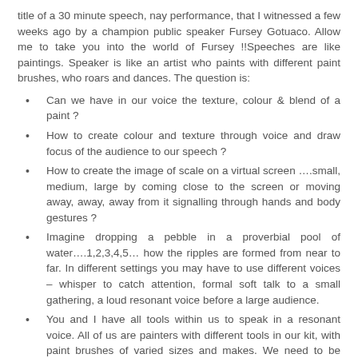title of a 30 minute speech, nay performance, that I witnessed a few weeks ago by a champion public speaker Fursey Gotuaco. Allow me to take you into the world of Fursey !!Speeches are like paintings. Speaker is like an artist who paints with different paint brushes, who roars and dances. The question is:
Can we have in our voice the texture, colour & blend of a paint ?
How to create colour and texture through voice and draw focus of the audience to our speech ?
How to create the image of scale on a virtual screen ….small, medium, large by coming close to the screen or moving away, away, away from it signalling through hands and body gestures ?
Imagine dropping a pebble in a proverbial pool of water….1,2,3,4,5… how the ripples are formed from near to far. In different settings you may have to use different voices – whisper to catch attention, formal soft talk to a small gathering, a loud resonant voice before a large audience.
You and I have all tools within us to speak in a resonant voice. All of us are painters with different tools in our kit, with paint brushes of varied sizes and makes. We need to be aware of our painting abilities – for a speaker to be able to paint with his hands and vocal chords.
Lets resolve that "Today I will speak with a vibrant, rich, round, resonant voice" !
Coming to usage of hands, they speak along with the words, sometimes without them also. Hand gestures like a dancer's movements speak a thousand